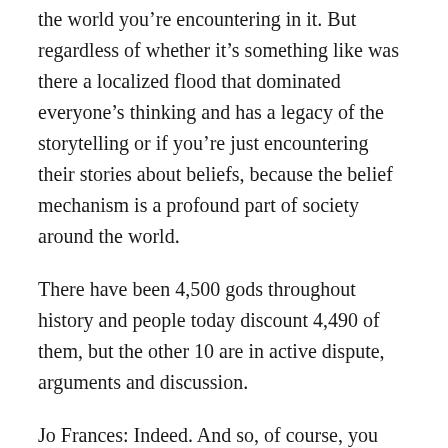the world you're encountering in it. But regardless of whether it's something like was there a localized flood that dominated everyone's thinking and has a legacy of the storytelling or if you're just encountering their stories about beliefs, because the belief mechanism is a profound part of society around the world.
There have been 4,500 gods throughout history and people today discount 4,490 of them, but the other 10 are in active dispute, arguments and discussion.
Jo Frances: Indeed. And so, of course, you mentioned Iraq and Iran, and many people will avoid those places. They're not usually on